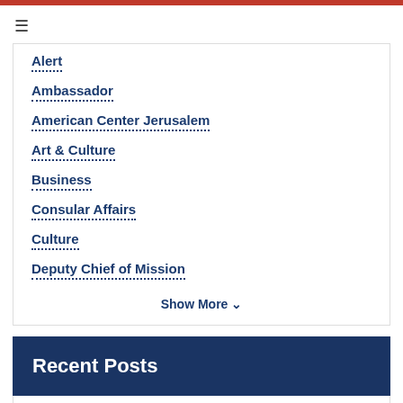Alert
Ambassador
American Center Jerusalem
Art & Culture
Business
Consular Affairs
Culture
Deputy Chief of Mission
Show More V
Recent Posts
Great Seal of the United States